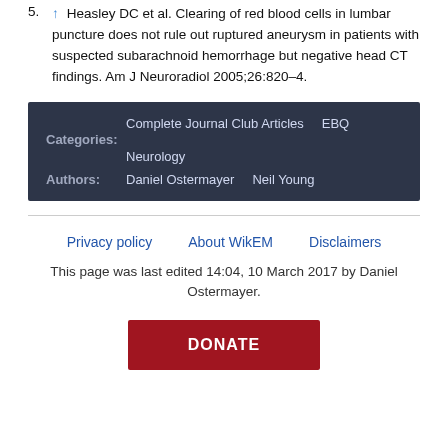5. ↑ Heasley DC et al. Clearing of red blood cells in lumbar puncture does not rule out ruptured aneurysm in patients with suspected subarachnoid hemorrhage but negative head CT findings. Am J Neuroradiol 2005;26:820–4.
Categories: Complete Journal Club Articles  EBQ  Neurology
Authors: Daniel Ostermayer  Neil Young
Privacy policy   About WikEM   Disclaimers
This page was last edited 14:04, 10 March 2017 by Daniel Ostermayer.
DONATE